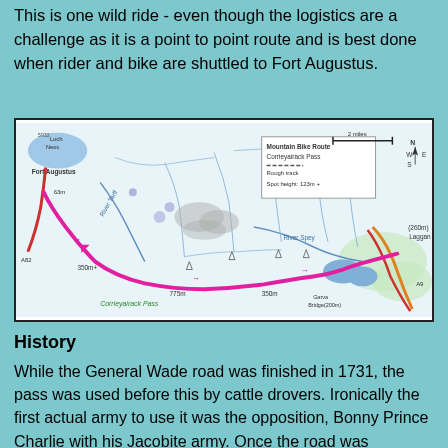This is one wild ride - even though the logistics are a challenge as it is a point to point route and is best done when rider and bike are shuttled to Fort Augustus.
[Figure (map): Mountain Bike Route map showing Corrieyairack Pass from Fort Augustus to Laggan, with route marked in pink/magenta. Shows River Tarff, River Spey, elevation markers (775m, 350m+, 260m Laggan, Garva Bridge 200m), and legend box indicating Mountain Bike Route, Corrieyairack Pass, Rough track, Spot height 123m+. Scale bar shows 2 miles.]
History
While the General Wade road was finished in 1731, the pass was used before this by cattle drovers. Ironically the first actual army to use it was the opposition, Bonny Prince Charlie with his Jacobite army. Once the road was completed the pass was crossed more regularly. One regular user was the minister of Laggan who was courting a lady who lived in Fort Augustus. She did eventually consent to become Mrs Grant so his determination was well rewarded. Probably the most regular users of the road over the pass nowadays will be the engineers who service the line of electricity pylons that follow the route. Their vehicles are exempted from the